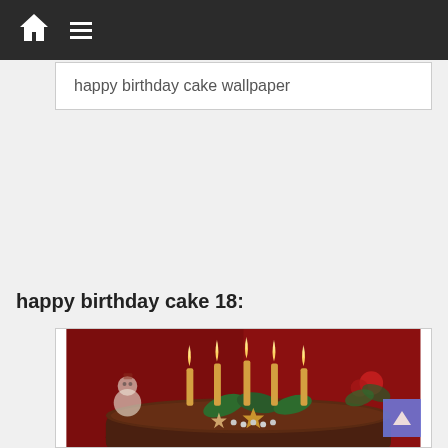Navigation bar with home icon and menu icon
happy birthday cake wallpaper
happy birthday cake 18:
[Figure (photo): A chocolate birthday cake with lit candles decorated with holly leaves, star-shaped decorations, and silver pearls. A snowman figurine is visible in the blurred background along with a red floral arrangement, all against a red background.]